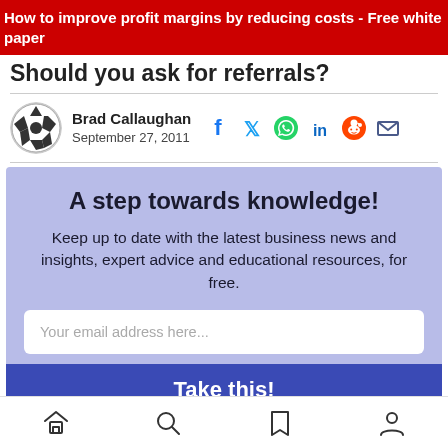How to improve profit margins by reducing costs - Free white paper
Should you ask for referrals? (partial/cut off)
Brad Callaughan
September 27, 2011
[Figure (infographic): Newsletter subscription box with heading 'A step towards knowledge!', body text 'Keep up to date with the latest business news and insights, expert advice and educational resources, for free.', email input field, and a 'Take this!' button]
Home, Search, Bookmark, Profile navigation icons